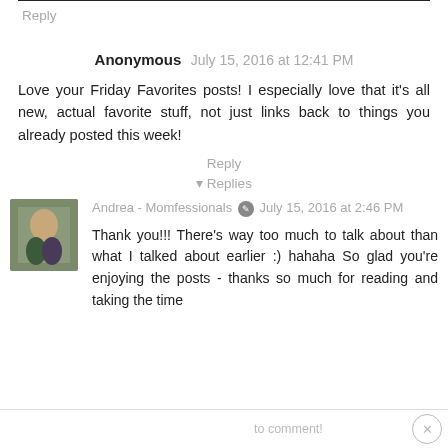Reply
Anonymous July 15, 2016 at 12:41 PM
Love your Friday Favorites posts! I especially love that it's all new, actual favorite stuff, not just links back to things you already posted this week!
Reply
▾ Replies
Andrea - Momfessionals July 15, 2016 at 2:46 PM
Thank you!!! There's way too much to talk about than what I talked about earlier :) hahaha So glad you're enjoying the posts - thanks so much for reading and taking the time to comment!